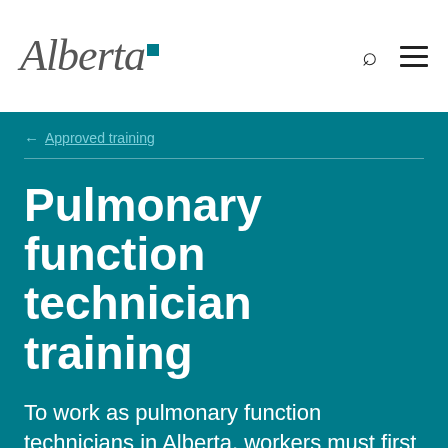Alberta [logo] — Search — Menu
← Approved training
Pulmonary function technician training
To work as pulmonary function technicians in Alberta, workers must first complete one of these government-approved courses.